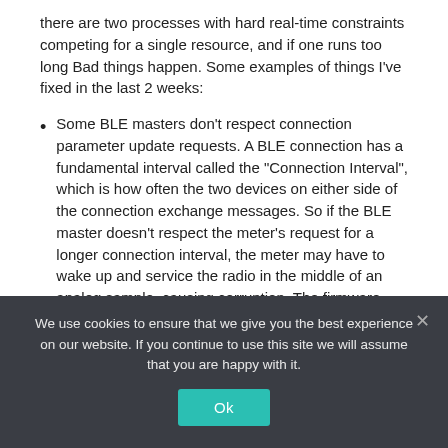there are two processes with hard real-time constraints competing for a single resource, and if one runs too long Bad things happen.  Some examples of things I've fixed in the last 2 weeks:
Some BLE masters don't respect connection parameter update requests.  A BLE connection has a fundamental interval called the "Connection Interval", which is how often the two devices on either side of the connection exchange messages.  So if the BLE master doesn't respect the meter's request for a longer connection interval, the meter may have to wake up and service the radio in the middle of an analog sample, causing corruption.  The firmware now detects when this problem has occurred and interpolates for missed
We use cookies to ensure that we give you the best experience on our website. If you continue to use this site we will assume that you are happy with it.
Ok